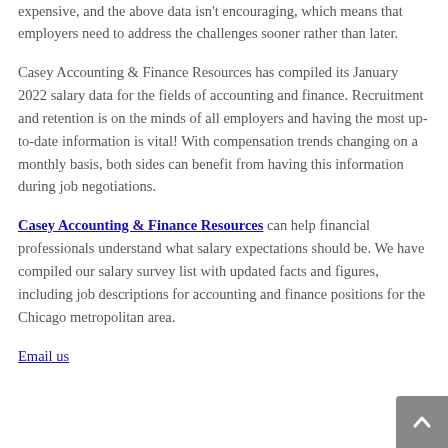expensive, and the above data isn't encouraging, which means that employers need to address the challenges sooner rather than later.
Casey Accounting & Finance Resources has compiled its January 2022 salary data for the fields of accounting and finance. Recruitment and retention is on the minds of all employers and having the most up-to-date information is vital! With compensation trends changing on a monthly basis, both sides can benefit from having this information during job negotiations.
Casey Accounting & Finance Resources can help financial professionals understand what salary expectations should be. We have compiled our salary survey list with updated facts and figures, including job descriptions for accounting and finance positions for the Chicago metropolitan area.
Email us